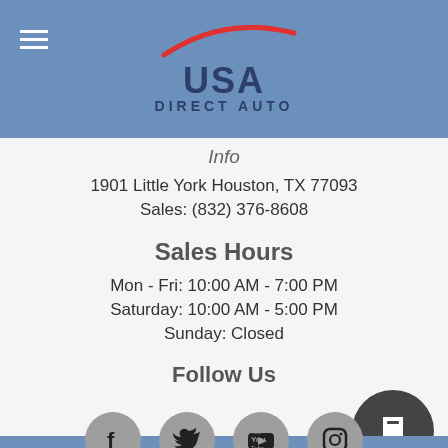[Figure (logo): USA Direct Auto logo with red swoosh car silhouette above bold dark blue text reading USA and DIRECT AUTO]
Info
1901 Little York Houston, TX 77093
Sales: (832) 376-8608
Sales Hours
Mon - Fri: 10:00 AM - 7:00 PM
Saturday: 10:00 AM - 5:00 PM
Sunday: Closed
Follow Us
[Figure (illustration): Row of social media icons: Facebook, Twitter, YouTube, Instagram (gray circles), and a larger dark gray circle with a flag/bookmark icon on the right]